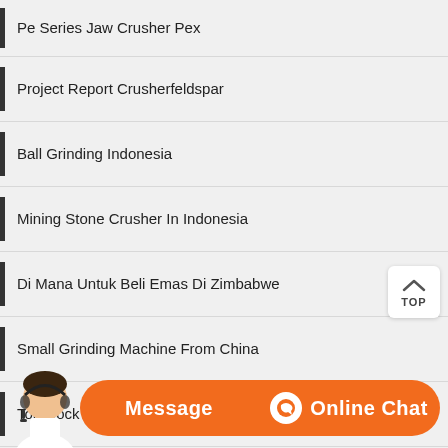Pe Series Jaw Crusher Pex
Project Report Crusherfeldspar
Ball Grinding Indonesia
Mining Stone Crusher In Indonesia
Di Mana Untuk Beli Emas Di Zimbabwe
Small Grinding Machine From China
Ton Rock Crusher Equipment Price In
Differeniate Between Vertical And Horitontal Milling Machine
Manual Stone Crusher Stone Jaw Crusher High Quality
[Figure (illustration): Customer service representative avatar with Message and Online Chat buttons at the bottom of the page]